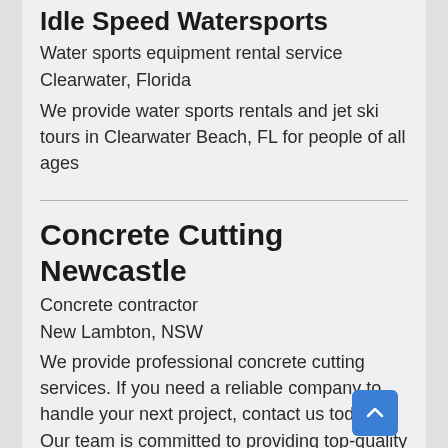Idle Speed Watersports
Water sports equipment rental service
Clearwater, Florida
We provide water sports rentals and jet ski tours in Clearwater Beach, FL for people of all ages
Concrete Cutting Newcastle
Concrete contractor
New Lambton, NSW
We provide professional concrete cutting services. If you need a reliable company to handle your next project, contact us today! Our team is committed to providing top-quality work and we're confident that our